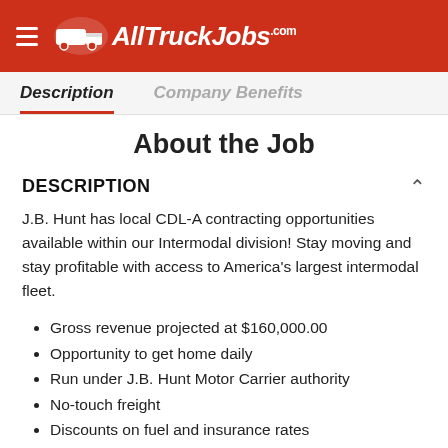AllTruckJobs.com
Description | Company Benefits
About the Job
DESCRIPTION
J.B. Hunt has local CDL-A contracting opportunities available within our Intermodal division! Stay moving and stay profitable with access to America's largest intermodal fleet.
Gross revenue projected at $160,000.00
Opportunity to get home daily
Run under J.B. Hunt Motor Carrier authority
No-touch freight
Discounts on fuel and insurance rates